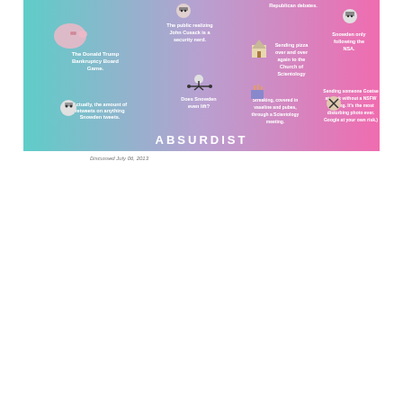[Figure (infographic): Absurdist humor infographic with teal and pink background, showing humorous captions paired with small illustrations: 'The Donald Trump Bankruptcy Board Game', 'The public realizing John Cusack is a security nerd', 'Actually, the amount of retweets on anything Snowden tweets', 'Does Snowden even lift?', 'Republican debates', 'Sending pizza over and over again to the Church of Scientology', 'Streaking, covered in vaseline and pubes, through a Scientology meeting', 'Snowden only following the NSA', 'Sending someone Goatse at work without a NSFW warning. It\'s the most disturbing photo ever. Google at your own risk.' The word ABSURDIST appears at the bottom center.]
Discussed July 06, 2013